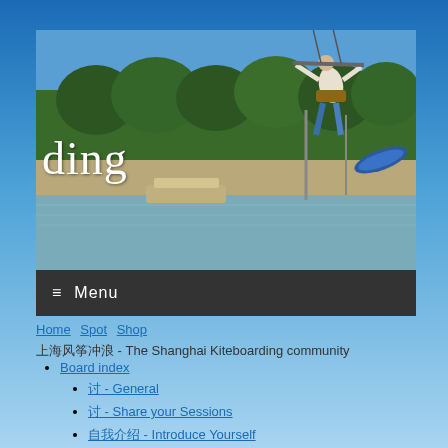[Figure (photo): A kiteboarding scene showing a kiteboarder in mid-air holding a kite bar, with trees and water in the background near Shanghai waterfront.]
ding
≡  Menu
Home  Spot  Shop
上海风筝冲浪 - The Shanghai Kiteboarding community
Board index
讨 - General
讨 - Share your Sessions
自我介绍 - Introduce Yourself
出发冲浪吧! - Let's go Kiting!